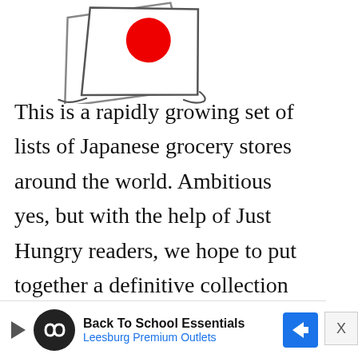[Figure (illustration): Hand-drawn illustration of Japanese flag (white rectangle with red circle) partially overlapping with white papers/envelopes, drawn with sketchy black outlines]
This is a rapidly growing set of lists of Japanese grocery stores around the world. Ambitious yes, but with the help of Just Hungry readers, we hope to put together a definitive collection of lists. This is definitely a work in progress - please bookmark it and check back often. Note that Korean
[Figure (infographic): Advertisement banner: Back To School Essentials - Leesburg Premium Outlets, with infinity logo icon, play button, and blue directional arrow sign]